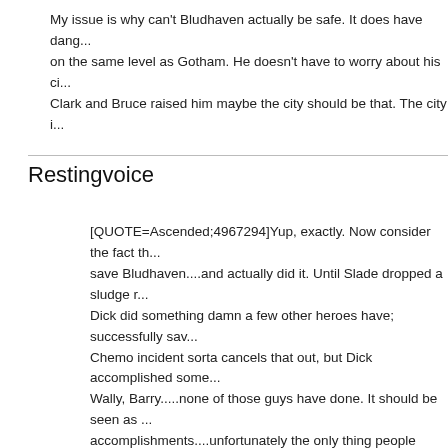My issue is why can't Bludhaven actually be safe. It does have dang... on the same level as Gotham. He doesn't have to worry about his ci... Clark and Bruce raised him maybe the city should be that. The city i...
Restingvoice
[QUOTE=Ascended;4967294]Yup, exactly. Now consider the fact th... save Bludhaven....and actually did it. Until Slade dropped a sludge r... Dick did something damn a few other heroes have; successfully sav... Chemo incident sorta cancels that out, but Dick accomplished some... Wally, Barry.....none of those guys have done. It should be seen as ... accomplishments....unfortunately the only thing people remember is... [/QUOTE]
Neverending stories. Gotta destroy it to maintain the status quo.
[QUOTE=AmiMizuno;4967381]My issue is why can't Bludhaven act... have dangerous crimes but it's not on the same level as Gotham. H... about his city in flames. That since Clark and Bruce raised him may... that. The city is more light than dark[/QUOTE]
Well, technically, it started out more dangerous than Gotham since t... Nightwing came along... The Rebirth version seems safer, at least o... there's no organized crime until Blockbuster returns...